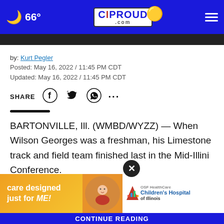66° CIPROUD.com
by: Kurt Pegler
Posted: May 16, 2022 / 11:45 PM CDT
Updated: May 16, 2022 / 11:45 PM CDT
SHARE
BARTONVILLE, Ill. (WMBD/WYZZ) — When Wilson Georges was a freshman, his Limestone track and field team finished last in the Mid-Illini Conference.
This year the Rockets are the champs and h big moment sectional...
[Figure (other): OSF HealthCare Children's Hospital of Illinois advertisement banner with orange background, smiling child photo, and hospital logo]
CONTINUE READING